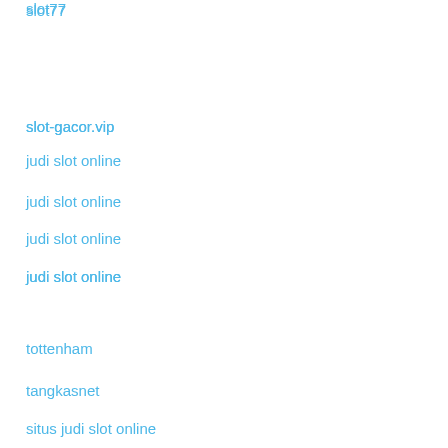slot77
slot-gacor.vip
judi slot online
judi slot online
tottenham
tangkasnet
situs judi slot online
สล็อตแตกง่าย